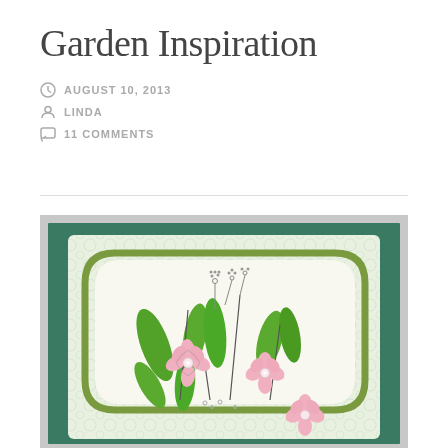Garden Inspiration
AUGUST 10, 2013
LINDA
11 COMMENTS
[Figure (photo): A handmade greeting card with pink flowers and green leaves drawn on white paper, mounted on a dark green card background with a decorative olive-green bracket frame and patterned green-and-white paper border.]